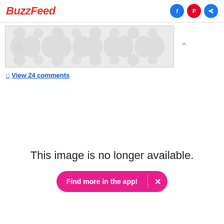BuzzFeed
[Figure (screenshot): BuzzFeed website screenshot with logo, social share icons (Facebook, Pinterest, Share), an advertisement banner with decorative pattern, and a 'View 24 comments' link. Below is a placeholder showing 'This image is no longer available.' with a pink 'Find more in the app!' button.]
View 24 comments
This image is no longer available.
Find more in the app!